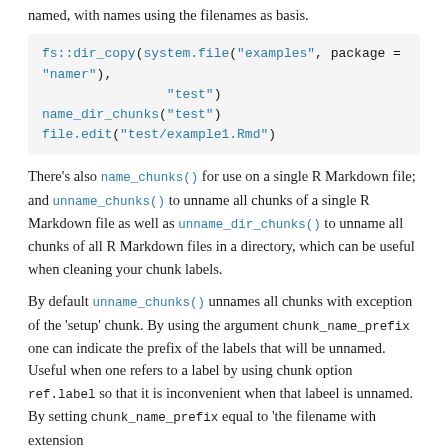named, with names using the filenames as basis.
fs::dir_copy(system.file("examples", package =
"namer"),
                "test")
name_dir_chunks("test")
file.edit("test/example1.Rmd")
There's also name_chunks() for use on a single R Markdown file; and unname_chunks() to unname all chunks of a single R Markdown file as well as unname_dir_chunks() to unname all chunks of all R Markdown files in a directory, which can be useful when cleaning your chunk labels.
By default unname_chunks() unnames all chunks with exception of the 'setup' chunk. By using the argument chunk_name_prefix one can indicate the prefix of the labels that will be unnamed. Useful when one refers to a label by using chunk option ref.label so that it is inconvenient when that labeel is unnamed. By setting chunk_name_prefix equal to 'the filename with extension